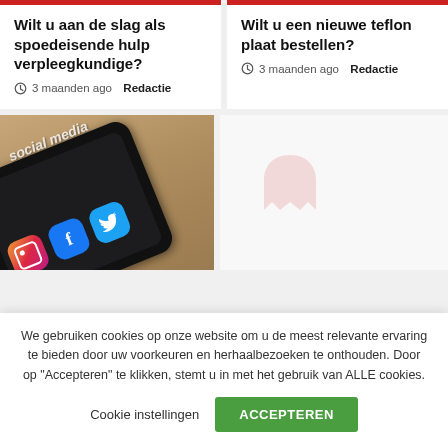Wilt u aan de slag als spoedeisende hulp verpleegkundige?
3 maanden ago  Redactie
Wilt u een nieuwe teflon plaat bestellen?
3 maanden ago  Redactie
[Figure (photo): Smartphone with social media apps (Instagram, Facebook, Twitter) visible on screen, lying on a wooden surface. Text 'social media' partially visible.]
We gebruiken cookies op onze website om u de meest relevante ervaring te bieden door uw voorkeuren en herhaalbezoeken te onthouden. Door op "Accepteren" te klikken, stemt u in met het gebruik van ALLE cookies.
Cookie instellingen  ACCEPTEREN